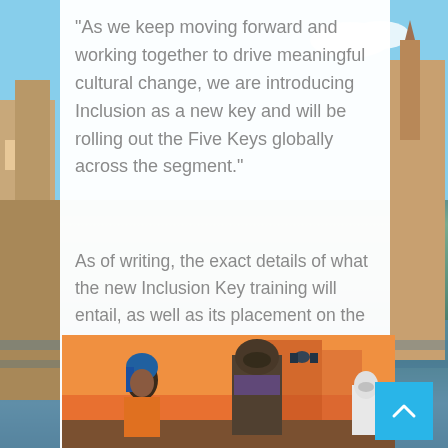“As we keep moving forward and working together to drive meaningful cultural change, we are introducing Inclusion as a new key and will be rolling out the Five Keys globally across the segment.”
As of writing, the exact details of what the new Inclusion Key training will entail, as well as its placement on the established priority hierarchy, are currently unknown.
[Figure (illustration): Illustrated artwork showing a young woman with blue hair in an orange jacket alongside a figure in armor, with Star Wars-style spacecraft in the background against an orange sky.]